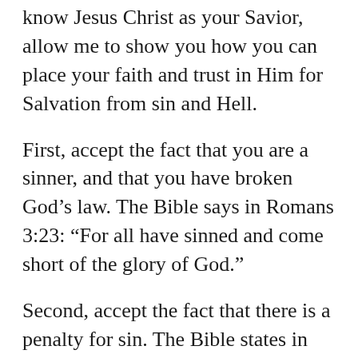know Jesus Christ as your Savior, allow me to show you how you can place your faith and trust in Him for Salvation from sin and Hell.
First, accept the fact that you are a sinner, and that you have broken God’s law. The Bible says in Romans 3:23: “For all have sinned and come short of the glory of God.”
Second, accept the fact that there is a penalty for sin. The Bible states in Romans 6:23: “For the wages of sin is death…”
Third, accept the fact that you are on the road to